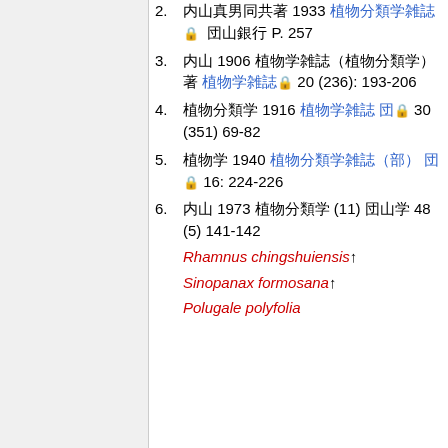2. [CJK text] 1933 [blue link] [lock] [CJK] P. 257
3. [CJK text] 1906 [CJK] [blue link] [lock] 20 (236): 193-206
4. [CJK text] 1916 [blue link] [lock] 30 (351) 69-82
5. [CJK text] 1940 [blue link] [lock] 16: 224-226
6. [CJK text] 1973 [CJK text] (11) [CJK] 48 (5) 141-142 Rhamnus chingshuiensis Sinopanax formosana Polugale polyfolia